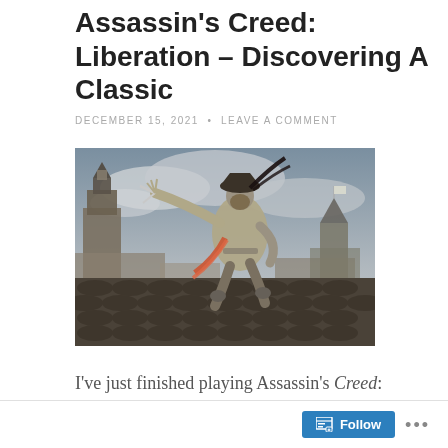Assassin's Creed: Liberation – Discovering A Classic
DECEMBER 15, 2021 • LEAVE A COMMENT
[Figure (illustration): Artwork of Aveline de Grandpré, the protagonist of Assassin's Creed: Liberation, leaping across rooftops in assassin attire with blades extended, against a colonial city backdrop with cloudy sky.]
I've just finished playing Assassin's Creed: